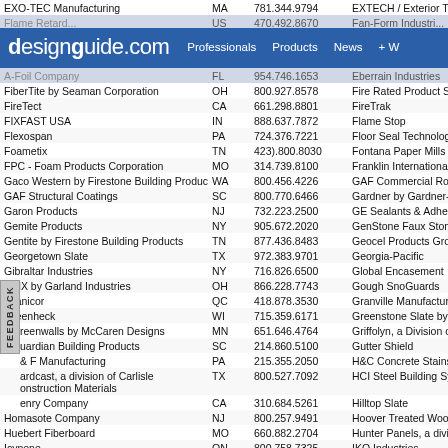| Company | State | Phone | Category |
| --- | --- | --- | --- |
| EXO-TEC Manufacturing | MA | 781.344.9794 | EXTECH / Exterior Te... |
| [nav bar row] |  |  |  |
| FiberTite by Seaman Corporation | OH | 800.927.8578 | Fire Rated Product Sp... |
| FireTect | CA | 661.298.8801 | FireTrak |
| FIXFAST USA | IN | 888.637.7872 | Flame Stop |
| Flexospan | PA | 724.376.7221 | Floor Seal Technology |
| Foametix | TN | 423).800.8030 | Fontana Paper Mills |
| FPC - Foam Products Corporation | MO | 314.739.8100 | Franklin International |
| Gaco Western by Firestone Building Products | WA | 800.456.4226 | GAF Commercial Roo... |
| GAF Structural Coatings | SC | 800.770.6466 | Gardner by Gardner-G... |
| Garon Products | NJ | 732.223.2500 | GE Sealants & Adhesi... |
| Gemite Products | NY | 905.672.2020 | GenStone Faux Stone |
| Gentite by Firestone Building Products | TN | 877.436.8483 | Geocel Products Grou... |
| Georgetown Slate | TX | 972.383.9701 | Georgia-Pacific |
| Gibraltar Industries | NY | 716.826.6500 | Global Encasement |
| GMX by Garland Industries | OH | 866.228.7743 | Gough SnoGuards |
| Granicor | QC | 418.878.3530 | Granville Manufacturin... |
| Greenheck | WI | 715.359.6171 | Greenstone Slate by M... |
| Greenwalls by McCaren Designs | MN | 651.646.4764 | Griffolyn, a Division of... |
| Guardian Building Products | SC | 214.860.5100 | Gutter Shield |
| H & F Manufacturing | PA | 215.355.2050 | H&C Concrete Stains |
| Hardcast, a division of Carlisle Construction Materials | TX | 800.527.7092 | HCI Steel Building Sys... |
| Henry Company | CA | 310.684.5261 | Hilltop Slate |
| Homasote Company | NJ | 800.257.9491 | Hoover Treated Wood... |
| Huebert Fiberboard | MO | 660.882.2704 | Hunter Panels, a divis... Construction Materials |
| Icynene | ON | 800.758.7325 | IKO Industries |
| IMETCO - Innovative Metals Company | GA | 770.908.1030 | Industrial Floor |